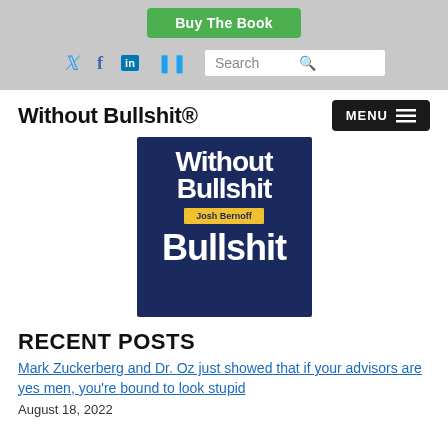Buy The Book
[Figure (screenshot): Social media icons (Twitter, Facebook, LinkedIn, RSS) and a Search box in the gray navigation bar]
Without Bullshit®
[Figure (photo): Book cover: 'Without Bullshit' by Josh Bernoff, dark navy blue background with white bold text and yellow author badge]
RECENT POSTS
Mark Zuckerberg and Dr. Oz just showed that if your advisors are yes men, you're bound to look stupid
August 18, 2022